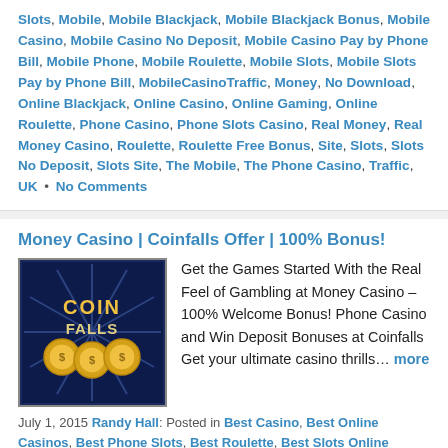Slots, Mobile, Mobile Blackjack, Mobile Blackjack Bonus, Mobile Casino, Mobile Casino No Deposit, Mobile Casino Pay by Phone Bill, Mobile Phone, Mobile Roulette, Mobile Slots, Mobile Slots Pay by Phone Bill, MobileCasinoTraffic, Money, No Download, Online Blackjack, Online Casino, Online Gaming, Online Roulette, Phone Casino, Phone Slots Casino, Real Money, Real Money Casino, Roulette, Roulette Free Bonus, Site, Slots, Slots No Deposit, Slots Site, The Mobile, The Phone Casino, Traffic, UK • No Comments
Money Casino | Coinfalls Offer | 100% Bonus!
[Figure (logo): Coin Falls casino logo on dark blue starburst background with gold coins]
Get the Games Started With the Real Feel of Gambling at Money Casino – 100% Welcome Bonus! Phone Casino and Win Deposit Bonuses at Coinfalls Get your ultimate casino thrills… more
July 1, 2015 Randy Hall: Posted in Best Casino, Best Online Casinos, Best Phone Slots, Best Roulette, Best Slots Online